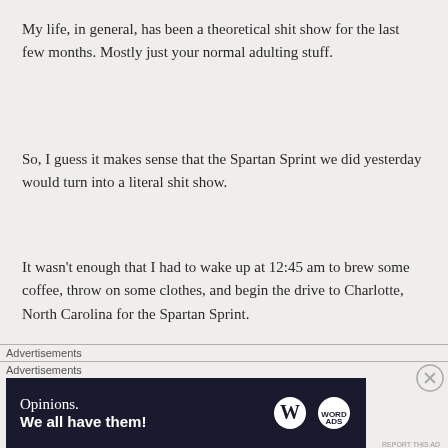My life, in general, has been a theoretical shit show for the last few months. Mostly just your normal adulting stuff.
So, I guess it makes sense that the Spartan Sprint we did yesterday would turn into a literal shit show.
It wasn't enough that I had to wake up at 12:45 am to brew some coffee, throw on some clothes, and begin the drive to Charlotte, North Carolina for the Spartan Sprint.
Advertisements
Advertisements
[Figure (screenshot): Dark blue advertisement banner with text 'Opinions. We all have them!' and WordPress logo and a circular logo on the right]